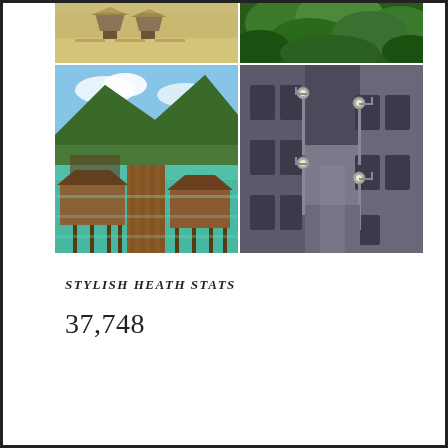[Figure (photo): Beach scene with thatched roof huts/umbrellas on sandy beach]
[Figure (photo): Lush green mountain/hillside with trees and foliage]
[Figure (photo): Overwater bungalows on stilts over turquoise water with mountains in background and wooden dock]
[Figure (photo): Narrow European cobblestone street with ornate wrought iron street lamps on stone building walls]
STYLISH HEATH STATS
37,748